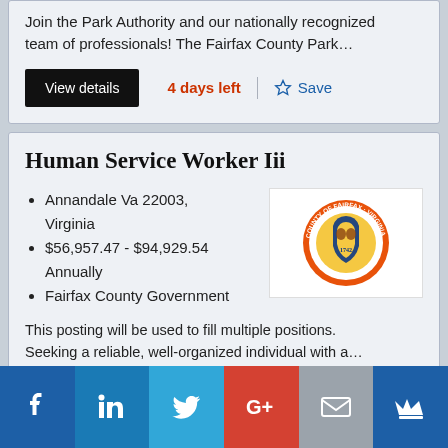Join the Park Authority and our nationally recognized team of professionals! The Fairfax County Park…
View details   4 days left   Save
Human Service Worker Iii
Annandale Va 22003, Virginia
$56,957.47 - $94,929.54 Annually
Fairfax County Government
[Figure (logo): Fairfax County seal/logo with orange circular border and coat of arms, dated 1742]
This posting will be used to fill multiple positions. Seeking a reliable, well-organized individual with a…
[Figure (infographic): Social media share bar with Facebook, LinkedIn, Twitter, Google+, Email, and Crown icons]